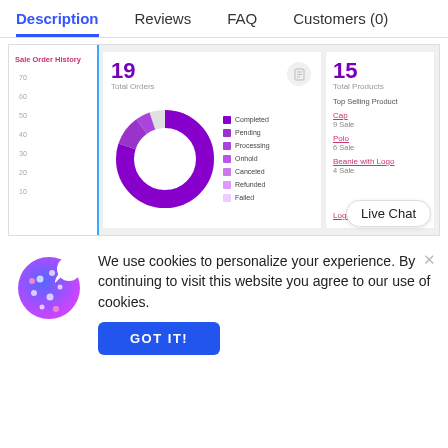Description  Reviews  FAQ  Customers (0)
[Figure (screenshot): A product dashboard screenshot showing: left sidebar with 'Sale Order History' bar chart (y-axis: 10,20,30,40,50,60,70), a middle card with '19 Total Orders' and a donut chart with legend (Completed, Pending, Processing, Onhold, Canceled, Refunded, Failed), and a right card with '15 Total Products', Top Selling Products: Cap (9 Sale), Polo (6 Sale), Beanie with Logo (4 Sale), Logo Collection. A 'Live Chat' badge appears at bottom right.]
We use cookies to personalize your experience. By continuing to visit this website you agree to our use of cookies.
[Figure (illustration): Cookie emoji illustration with blue and purple gradient colors]